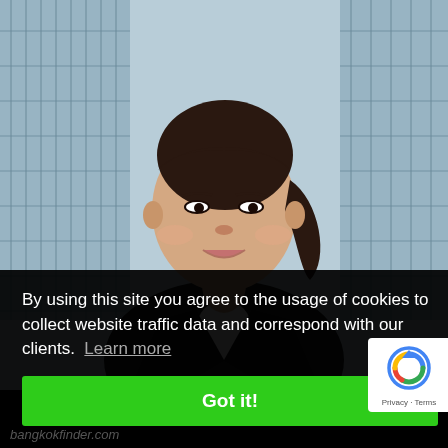[Figure (photo): Young Asian businesswoman in a black blazer smiling, standing in front of a glass building exterior. Background is blurred.]
By using this site you agree to the usage of cookies to collect website traffic data and correspond with our clients.  Learn more
Got it!
[Figure (logo): Google reCAPTCHA logo with the text Privacy · Terms below it]
bangkokfinder.com